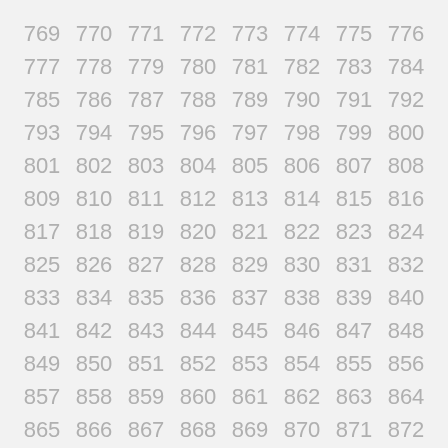769 770 771 772 773 774 775 776 777 778 779 780 781 782 783 784 785 786 787 788 789 790 791 792 793 794 795 796 797 798 799 800 801 802 803 804 805 806 807 808 809 810 811 812 813 814 815 816 817 818 819 820 821 822 823 824 825 826 827 828 829 830 831 832 833 834 835 836 837 838 839 840 841 842 843 844 845 846 847 848 849 850 851 852 853 854 855 856 857 858 859 860 861 862 863 864 865 866 867 868 869 870 871 872